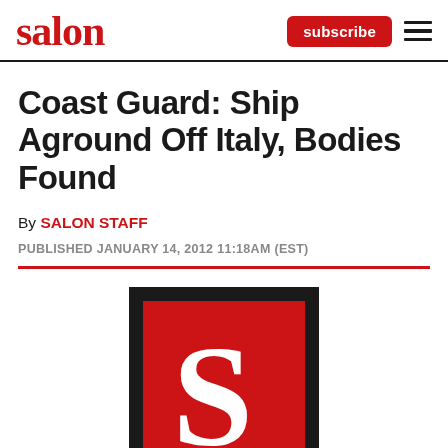salon | subscribe ≡
Coast Guard: Ship Aground Off Italy, Bodies Found
By SALON STAFF
PUBLISHED JANUARY 14, 2012 11:18AM (EST)
[Figure (logo): Salon magazine logo — large white S on red background inside black border square]